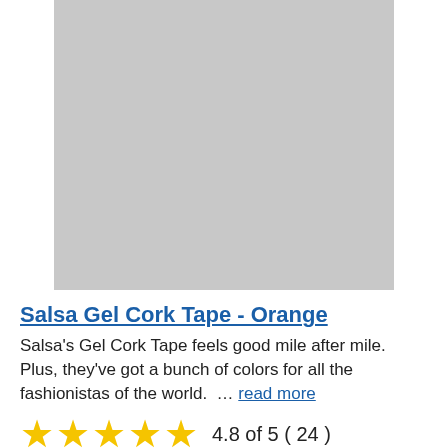[Figure (photo): Product image placeholder (gray rectangle) for Salsa Gel Cork Tape - Orange]
Salsa Gel Cork Tape - Orange
Salsa's Gel Cork Tape feels good mile after mile. Plus, they've got a bunch of colors for all the fashionistas of the world. … read more
4.8 of 5 ( 24 )
your price $21.00
[Figure (photo): Partial product image placeholder (gray rectangle) at bottom of page]